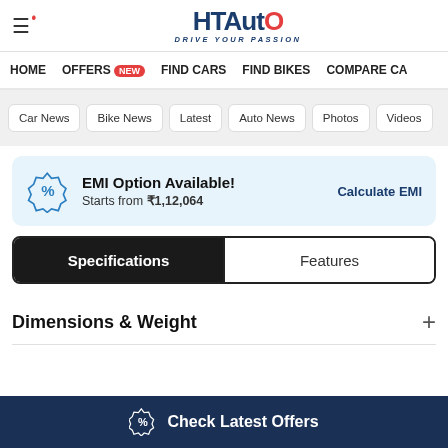HT Auto - Drive Your Passion
HOME | OFFERS new | FIND CARS | FIND BIKES | COMPARE CA
Car News | Bike News | Latest | Auto News | Photos | Videos
EMI Option Available! Starts from ₹1,12,064  Calculate EMI
Specifications | Features
Dimensions & Weight
Check Latest Offers